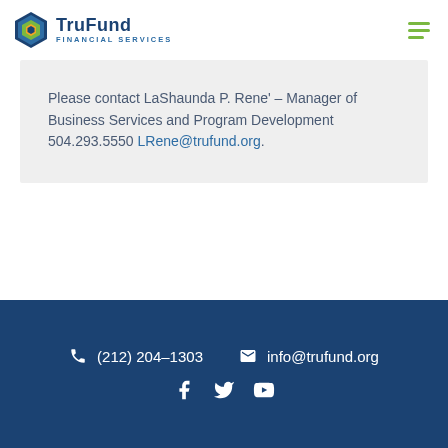TruFund Financial Services
Please contact LaShaunda P. Rene' – Manager of Business Services and Program Development 504.293.5550 LRene@trufund.org.
(212) 204–1303  info@trufund.org  Facebook  Twitter  YouTube